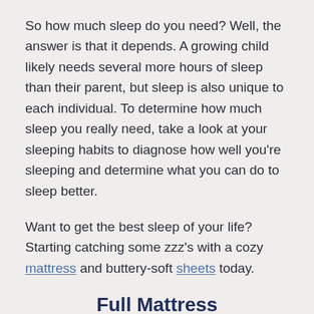So how much sleep do you need? Well, the answer is that it depends. A growing child likely needs several more hours of sleep than their parent, but sleep is also unique to each individual. To determine how much sleep you really need, take a look at your sleeping habits to diagnose how well you're sleeping and determine what you can do to sleep better.
Want to get the best sleep of your life? Starting catching some zzz's with a cozy mattress and buttery-soft sheets today.
Full Mattress
Casper Original full-sized mattress.